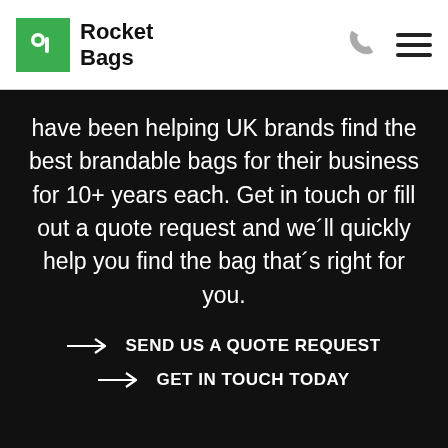[Figure (logo): Rocket Bags logo with green square containing white 'r' letter and brand name 'Rocket Bags' in bold black text]
have been helping UK brands find the best brandable bags for their business for 10+ years each. Get in touch or fill out a quote request and we´ll quickly help you find the bag that´s right for you.
→ SEND US A QUOTE REQUEST
→ GET IN TOUCH TODAY